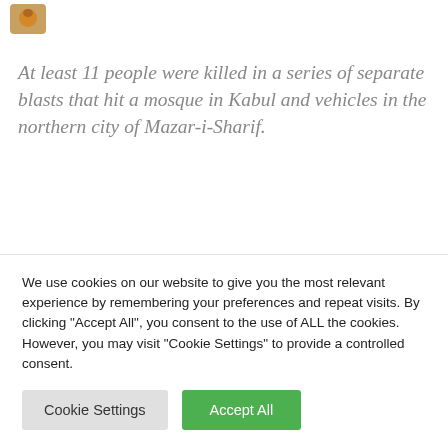[Figure (logo): Small website logo icon in top-left corner]
At least 11 people were killed in a series of separate blasts that hit a mosque in Kabul and vehicles in the northern city of Mazar-i-Sharif.
A series of explosions in the northern city of Mazar-i-Sharif has killed nine people, while a mosque blast in the capital Kabul first beat two more in the [text cut off]
We use cookies on our website to give you the most relevant experience by remembering your preferences and repeat visits. By clicking "Accept All", you consent to the use of ALL the cookies. However, you may visit "Cookie Settings" to provide a controlled consent.